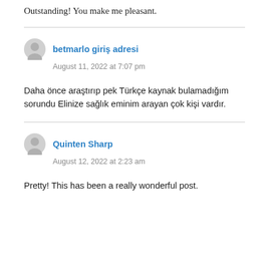Outstanding! You make me pleasant.
betmarlo giriş adresi
August 11, 2022 at 7:07 pm
Daha önce araştırıp pek Türkçe kaynak bulamadığım sorundu Elinize sağlık eminim arayan çok kişi vardır.
Quinten Sharp
August 12, 2022 at 2:23 am
Pretty! This has been a really wonderful post.